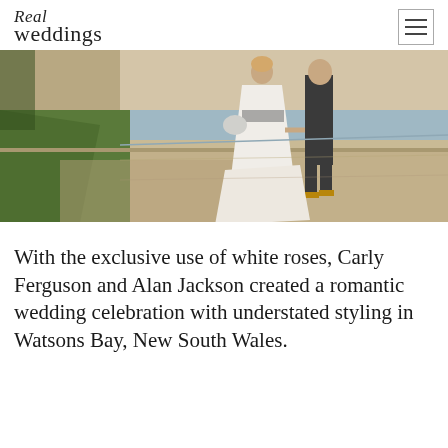Real weddings
[Figure (photo): A bride in a white gown with grey/silver sash and a groom in a dark suit walking hand-in-hand along a beachside path with grass, sandy beach and ocean in the background.]
With the exclusive use of white roses, Carly Ferguson and Alan Jackson created a romantic wedding celebration with understated styling in Watsons Bay, New South Wales.